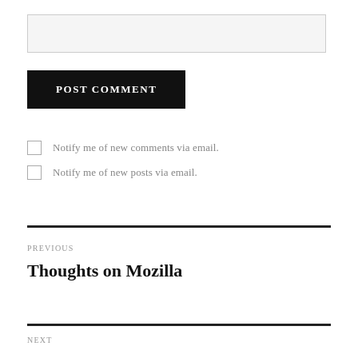[Figure (other): Text input field (light gray background, bordered)]
POST COMMENT
Notify me of new comments via email.
Notify me of new posts via email.
PREVIOUS
Thoughts on Mozilla
NEXT